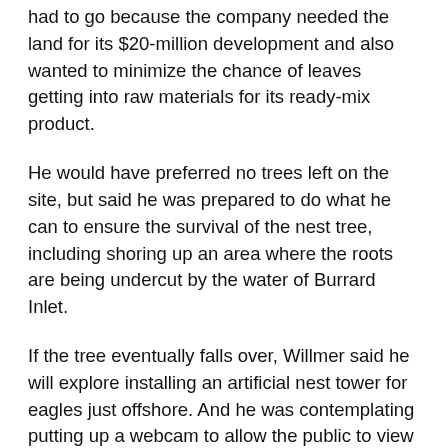had to go because the company needed the land for its $20-million development and also wanted to minimize the chance of leaves getting into raw materials for its ready-mix product.
He would have preferred no trees left on the site, but said he was prepared to do what he can to ensure the survival of the nest tree, including shoring up an area where the roots are being undercut by the water of Burrard Inlet.
If the tree eventually falls over, Willmer said he will explore installing an artificial nest tower for eagles just offshore. And he was contemplating putting up a webcam to allow the public to view the eagles in the nest. Bald eagles start nesting in February and lay eggs in March.